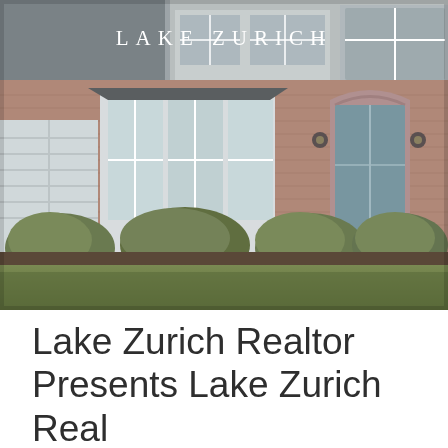[Figure (photo): Exterior photograph of a brick suburban house with bay windows, arched front door, manicured shrubs, and a green lawn. White trim, gray siding on upper floor.]
Lake Zurich
Lake Zurich Realtor Presents Lake Zurich Real